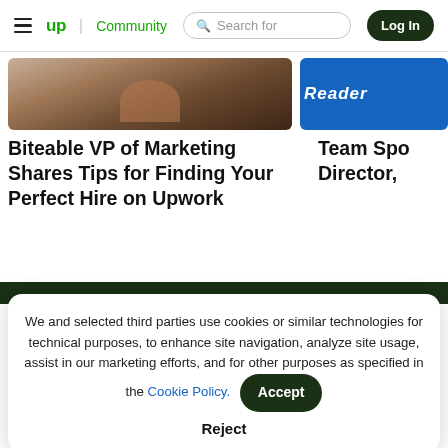up Community | Search for | Log In
[Figure (photo): Partial view of a person photo on the left card, and a blue 'Reader' badge/image on the right card]
Biteable VP of Marketing Shares Tips for Finding Your Perfect Hire on Upwork
Team Spo Director,
We and selected third parties use cookies or similar technologies for technical purposes, to enhance site navigation, analyze site usage, assist in our marketing efforts, and for other purposes as specified in the Cookie Policy.
Accept
Reject